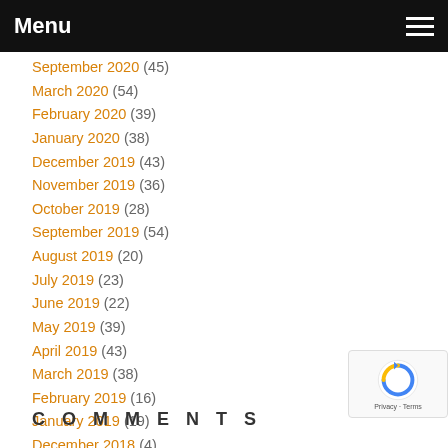Menu
September 2020 (partial, cut off at top)
March 2020 (54)
February 2020 (39)
January 2020 (38)
December 2019 (43)
November 2019 (36)
October 2019 (28)
September 2019 (54)
August 2019 (20)
July 2019 (23)
June 2019 (22)
May 2019 (39)
April 2019 (43)
March 2019 (38)
February 2019 (16)
January 2019 (19)
December 2018 (4)
COMMENTS